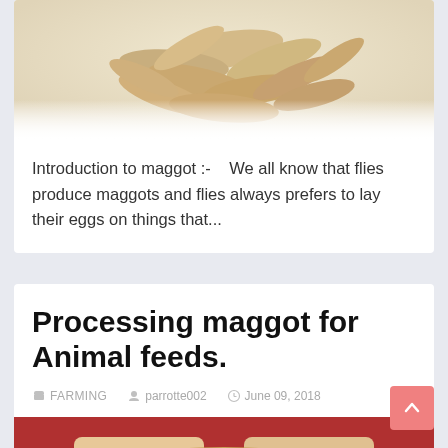[Figure (photo): Pile of maggots/larvae on a white background, light brown coloring]
Introduction to maggot :-    We all know that flies produce maggots and flies always prefers to lay their eggs on things that...
Processing maggot for Animal feeds.
FARMING   parrotte002   June 09, 2018
[Figure (photo): Two hands holding dried maggots/animal feed, viewed from above]